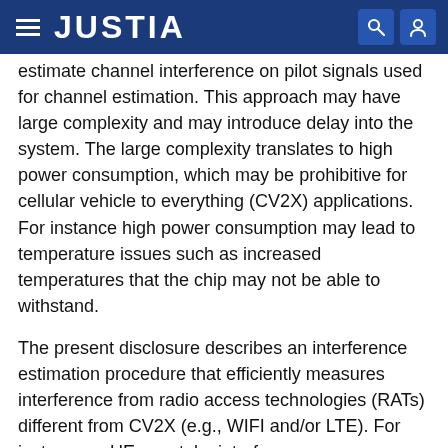JUSTIA
(...) estimate channel interference on pilot signals used for channel estimation. This approach may have large complexity and may introduce delay into the system. The large complexity translates to high power consumption, which may be prohibitive for cellular vehicle to everything (CV2X) applications. For instance high power consumption may lead to temperature issues such as increased temperatures that the chip may not be able to withstand.
The present disclosure describes an interference estimation procedure that efficiently measures interference from radio access technologies (RATs) different from CV2X (e.g., WIFI and/or LTE). For instance, a UE may take interference measurements when no CV2X signal is present. This may be during the last symbol of a subframe immediately prior to a subframe